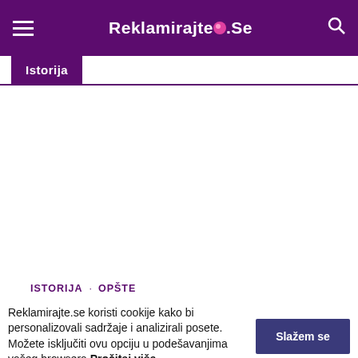Reklamirajte.Se
Istorija
ISTORIJA · OPŠTE
Reklamirajte.se koristi cookije kako bi personalizovali sadržaje i analizirali posete. Možete isključiti ovu opciju u podešavanjima vašeg browsera. Pročitaj više Slažem se